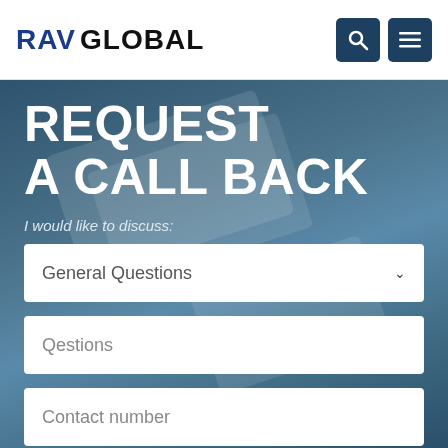RAV GLOBAL
REQUEST A CALL BACK
I would like to discuss:
General Questions
Qestions
Contact number